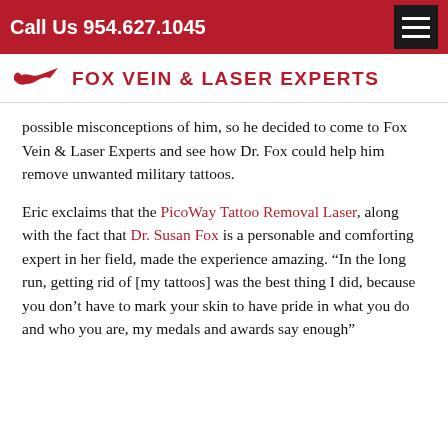Call Us 954.627.1045
Fox Vein & Laser Experts
possible misconceptions of him, so he decided to come to Fox Vein & Laser Experts and see how Dr. Fox could help him remove unwanted military tattoos.
Eric exclaims that the PicoWay Tattoo Removal Laser, along with the fact that Dr. Susan Fox is a personable and comforting expert in her field, made the experience amazing. “In the long run, getting rid of [my tattoos] was the best thing I did, because you don’t have to mark your skin to have pride in what you do and who you are, my medals and awards say enough”